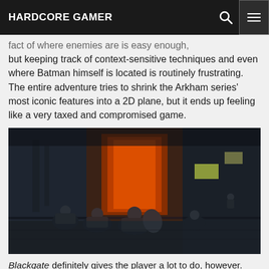HARDCORE GAMER
fact of where enemies are is easy enough, but keeping track of context-sensitive techniques and even where Batman himself is located is routinely frustrating. The entire adventure tries to shrink the Arkham series' most iconic features into a 2D plane, but it ends up feeling like a very taxed and compromised game.
[Figure (photo): Screenshot from a Batman Arkham game showing armored enemies in a dark industrial environment with orange/red lighting]
Blackgate definitely gives the player a lot to do, however. Upgrades to Batman's